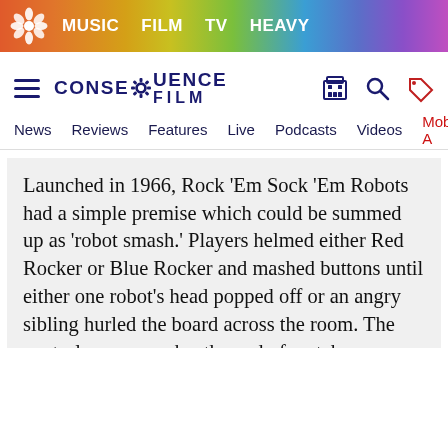MUSIC  FILM  TV  HEAVY
CONSEQUENCE FILM
News  Reviews  Features  Live  Podcasts  Videos  Mobile A
Launched in 1966, Rock ‘Em Sock ‘Em Robots had a simple premise which could be summed up as ‘robot smash.’ Players helmed either Red Rocker or Blue Rocker and mashed buttons until either one robot’s head popped off or an angry sibling hurled the board across the room. The controls were wonky, the end of matches unsatisfying, and no amount of misleadingly-cool commercials could save the franchise once young people acquired their own phones. But as a source of untapped nostalgia, Rock ‘Em Sock ‘Em Robots is perfectly primed for a cinematic revival